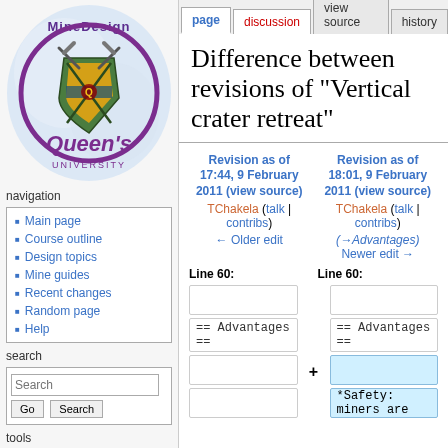[Figure (logo): Queen's University MineDesign wiki logo with shield emblem and crossed pickaxes]
log in
page | discussion | view source | history
Difference between revisions of "Vertical crater retreat"
Revision as of 17:44, 9 February 2011 (view source)
TChakela (talk | contribs)
← Older edit
Revision as of 18:01, 9 February 2011 (view source)
TChakela (talk | contribs)
(→Advantages)
Newer edit →
Line 60:
Line 60:
== Advantages ==
== Advantages ==
+
*Safety: miners are
navigation
Main page
Course outline
Design topics
Mine guides
Recent changes
Random page
Help
search
tools
What links here
Related changes